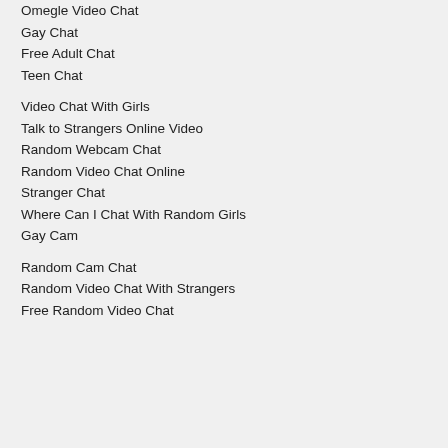Omegle Video Chat
Gay Chat
Free Adult Chat
Teen Chat
Video Chat With Girls
Talk to Strangers Online Video
Random Webcam Chat
Random Video Chat Online
Stranger Chat
Where Can I Chat With Random Girls
Gay Cam
Random Cam Chat
Random Video Chat With Strangers
Free Random Video Chat